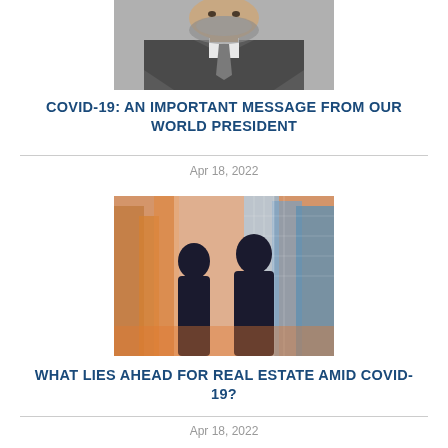[Figure (photo): Portrait of a bearded man in a suit and tie, business professional, cropped at chest]
COVID-19: AN IMPORTANT MESSAGE FROM OUR WORLD PRESIDENT
Apr 18, 2022
[Figure (photo): Two silhouetted figures (a woman and a man) standing side by side looking out at a cityscape of tall buildings through a large window]
WHAT LIES AHEAD FOR REAL ESTATE AMID COVID-19?
Apr 18, 2022